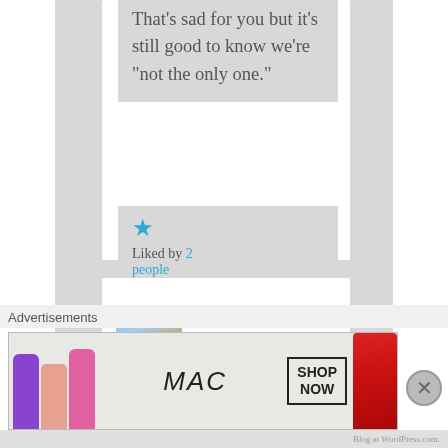That's sad for you but it's still good to know we're "not the only one."
[Figure (other): Blue star icon (like/favorite button)]
Liked by 2 people
[Figure (photo): Avatar image for user frozeroze - landscape painting with mountains]
frozeroze on August 1, 2015 at
Advertisements
[Figure (photo): MAC Cosmetics advertisement banner showing lipsticks in purple, peach, and pink with MAC logo and SHOP NOW button and red lipstick on right]